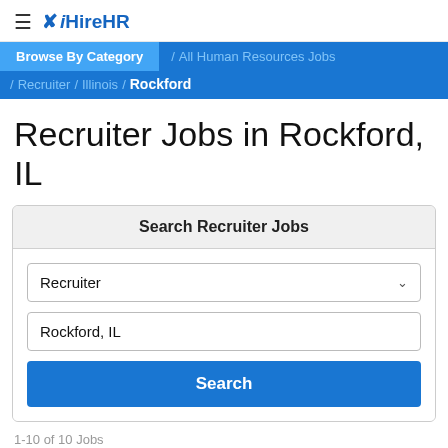≡ iHireHR
Browse By Category / All Human Resources Jobs / Recruiter / Illinois / Rockford
Recruiter Jobs in Rockford, IL
Search Recruiter Jobs
Recruiter
Rockford, IL
Search
1-10 of 10 Jobs